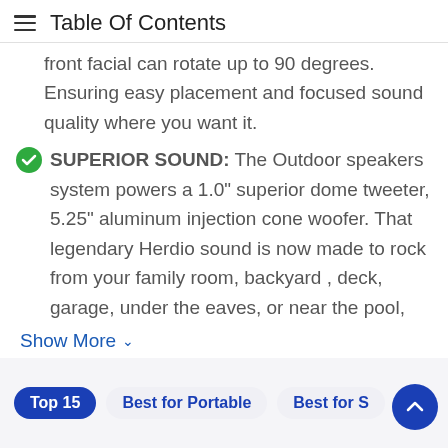Table Of Contents
front facial can rotate up to 90 degrees. Ensuring easy placement and focused sound quality where you want it.
SUPERIOR SOUND: The Outdoor speakers system powers a 1.0" superior dome tweeter, 5.25" aluminum injection cone woofer. That legendary Herdio sound is now made to rock from your family room, backyard , deck, garage, under the eaves, or near the pool,
Show More ∨
Top 15   Best for Portable   Best for S